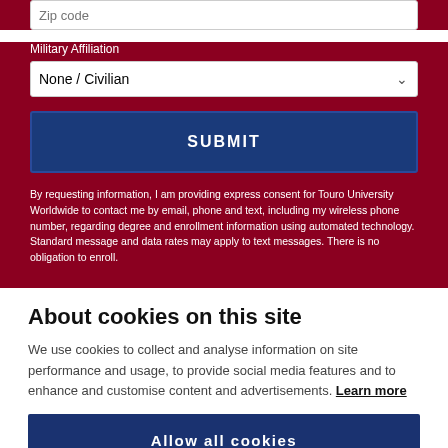Zip code
Military Affiliation
None / Civilian
SUBMIT
By requesting information, I am providing express consent for Touro University Worldwide to contact me by email, phone and text, including my wireless phone number, regarding degree and enrollment information using automated technology. Standard message and data rates may apply to text messages. There is no obligation to enroll.
About cookies on this site
We use cookies to collect and analyse information on site performance and usage, to provide social media features and to enhance and customise content and advertisements. Learn more
Allow all cookies
Cookie settings